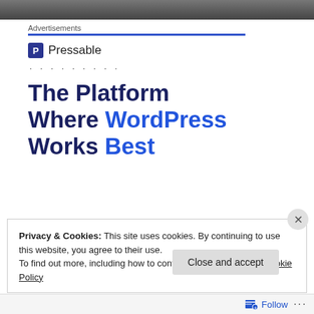[Figure (photo): Top portion of a photo, partially cropped, showing what appears to be a dark-clothed figure]
Advertisements
[Figure (logo): Pressable logo — blue square icon with letter P followed by text 'Pressable']
. . . . . . . . .
The Platform Where WordPress Works Best
Privacy & Cookies: This site uses cookies. By continuing to use this website, you agree to their use.
To find out more, including how to control cookies, see here: Cookie Policy
Close and accept